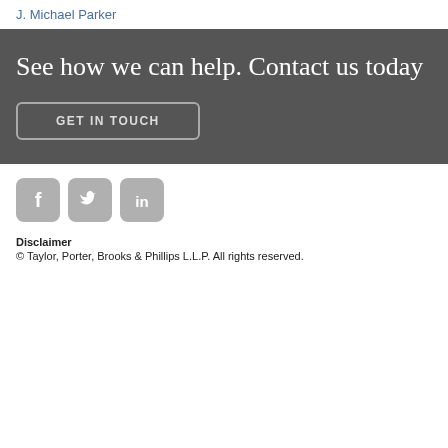J. Michael Parker
See how we can help. Contact us today
GET IN TOUCH
[Figure (logo): Facebook, Twitter, and LinkedIn social media icons in gray rounded squares]
Disclaimer
© Taylor, Porter, Brooks & Phillips L.L.P. All rights reserved.